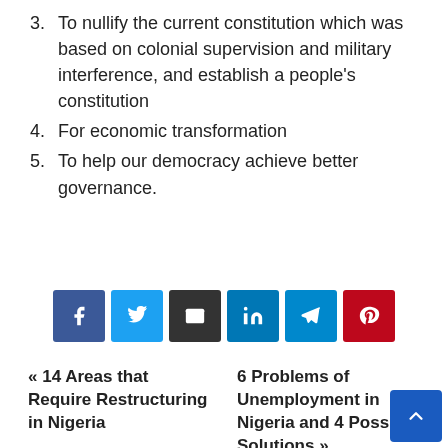3. To nullify the current constitution which was based on colonial supervision and military interference, and establish a people's constitution
4. For economic transformation
5. To help our democracy achieve better governance.
[Figure (other): Social sharing buttons: Facebook, Twitter, Email, LinkedIn, Telegram, Pinterest]
« 14 Areas that Require Restructuring in Nigeria    6 Problems of Unemployment in Nigeria and 4 Possible Solutions »